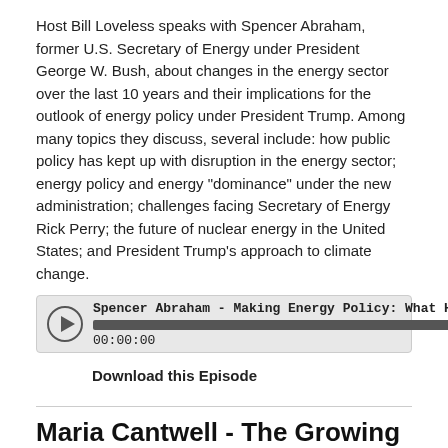Host Bill Loveless speaks with Spencer Abraham, former U.S. Secretary of Energy under President George W. Bush, about changes in the energy sector over the last 10 years and their implications for the outlook of energy policy under President Trump. Among many topics they discuss, several include: how public policy has kept up with disruption in the energy sector; energy policy and energy "dominance" under the new administration; challenges facing Secretary of Energy Rick Perry; the future of nuclear energy in the United States; and President Trump's approach to climate change.
[Figure (other): Audio player widget (Libsyn) showing podcast episode: 'Spencer Abraham - Making Energy Policy: What History Te...' with play button, progress bar, and timestamp 00:00:00]
Download this Episode
Maria Cantwell - The Growing Cost of Clima...
Nov 6, 2017
Host Bill Loveless speaks with Senator Maria Cantwell about: the new GAO report and the need to prepare for growing future financial outlays as a result of extreme weather; the prospect for more cooperation between Democrats and Republicans on issues related to disasters and the federal budgets; and the outlook for Congressional action on other energy policy issues including opening up the Arctic National Wildlife Refuge to drilling.